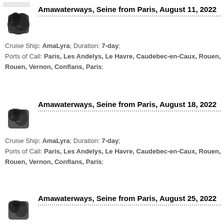[Figure (illustration): Menu button with three horizontal lines (hamburger icon) in a grey rounded rectangle]
Amawaterways, Seine from Paris, August 11, 2022
Cruise Ship: AmaLyra; Duration: 7-day; Ports of Call: Paris, Les Andelys, Le Havre, Caudebec-en-Caux, Rouen, Rouen, Vernon, Conflans, Paris;
Amawaterways, Seine from Paris, August 18, 2022
Cruise Ship: AmaLyra; Duration: 7-day; Ports of Call: Paris, Les Andelys, Le Havre, Caudebec-en-Caux, Rouen, Rouen, Vernon, Conflans, Paris;
Amawaterways, Seine from Paris, August 25, 2022